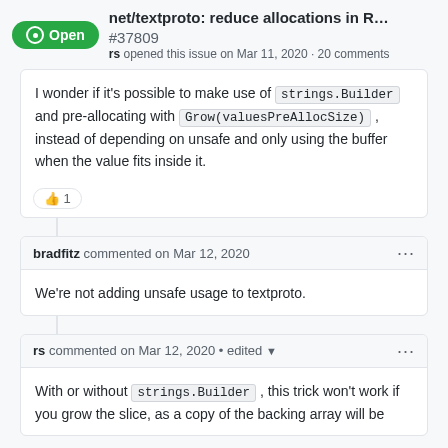net/textproto: reduce allocations in R... #37809
rs opened this issue on Mar 11, 2020 · 20 comments
I wonder if it's possible to make use of strings.Builder and pre-allocating with Grow(valuesPreAllocSize) , instead of depending on unsafe and only using the buffer when the value fits inside it.
bradfitz commented on Mar 12, 2020
We're not adding unsafe usage to textproto.
rs commented on Mar 12, 2020 • edited
With or without strings.Builder , this trick won't work if you grow the slice, as a copy of the backing array will be